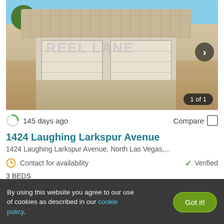[Figure (photo): Exterior photo of a single-story home with tile roof, two-car garage, and driveway in North Las Vegas. Watermark text 'REEL LANE' visible. Image counter shows '1 of 1'.]
145 days ago
Compare
1424 Laughing Larkspur Avenue
1424 Laughing Larkspur Avenue, North Las Vegas,...
Contact for availability
Verified
3 BEDS
By using this website you agree to our use of cookies as described in our cookie policy.